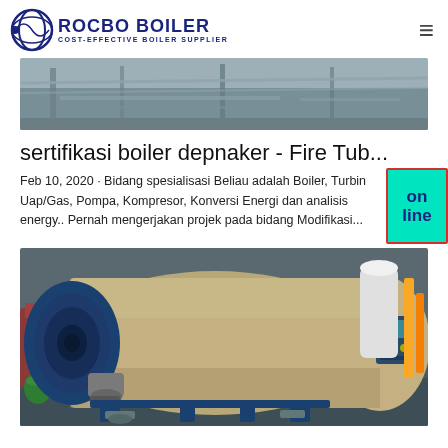ROCBO BOILER — COST-EFFECTIVE BOILER SUPPLIER
[Figure (photo): Industrial warehouse interior with metal structures and beams, top portion of image visible]
sertifikasi boiler depnaker - Fire Tub...
Feb 10, 2020 · Bidang spesialisasi Beliau adalah Boiler, Turbin Uap/Gas, Pompa, Kompresor, Konversi Energi dan analisis energy.. Pernah mengerjakan projek pada bidang Modifikasi...
[Figure (photo): Large industrial fire tube boiler (beige/tan cylinder) with blue front burner assembly and control panel, mounted on blue frame supports in an industrial facility]